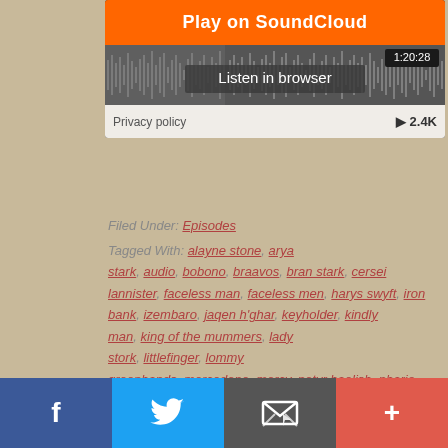[Figure (screenshot): SoundCloud embedded player widget showing 'Play on SoundCloud' button, waveform with 'Listen in browser', timestamp 1:20:28, play count 2.4K, and Privacy policy link]
Filed Under: Episodes
Tagged With: alayne stone, arya stark, audio, bobono, braavos, bran stark, cersei lannister, faceless man, faceless men, harys swyft, iron bank, izembaro, jaqen h'ghar, keyholder, kindly man, king of the mummers, lady stork, littlefinger, lommy greenhands, mercedene, mercy, petyr baelish, phario forel, raff the sweetling, sansa stark, shae, syrio forel
[Figure (screenshot): Bottom social sharing bar with Facebook, Twitter, Email, and More (+) buttons]